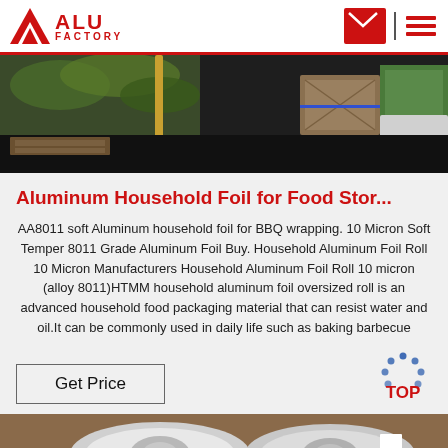ALU FACTORY
[Figure (photo): Warehouse/factory floor photo showing aluminum materials and green packaging/crates on dark floor]
Aluminum Household Foil for Food Stor...
AA8011 soft Aluminum household foil for BBQ wrapping. 10 Micron Soft Temper 8011 Grade Aluminum Foil Buy. Household Aluminum Foil Roll 10 Micron Manufacturers Household Aluminum Foil Roll 10 micron (alloy 8011)HTMM household aluminum foil oversized roll is an advanced household food packaging material that can resist water and oil.It can be commonly used in daily life such as baking barbecue
Get Price
[Figure (photo): Bottom portion of page showing aluminum foil rolls — silver large rolls on brown background]